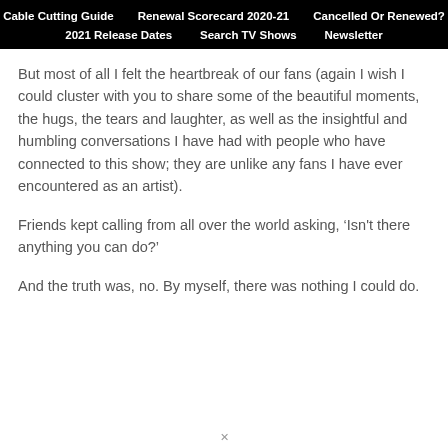Cable Cutting Guide  Renewal Scorecard 2020-21  Cancelled Or Renewed?  2021 Release Dates  Search TV Shows  Newsletter
But most of all I felt the heartbreak of our fans (again I wish I could cluster with you to share some of the beautiful moments, the hugs, the tears and laughter, as well as the insightful and humbling conversations I have had with people who have connected to this show; they are unlike any fans I have ever encountered as an artist).
Friends kept calling from all over the world asking, ‘Isn't there anything you can do?’
And the truth was, no. By myself, there was nothing I could do.